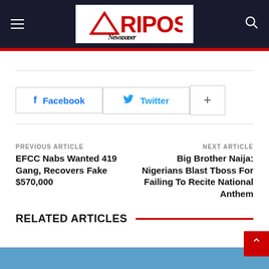Afripost Newspaper
Facebook   Twitter   +
PREVIOUS ARTICLE
EFCC Nabs Wanted 419 Gang, Recovers Fake $570,000
NEXT ARTICLE
Big Brother Naija: Nigerians Blast Tboss For Failing To Recite National Anthem
RELATED ARTICLES
[Figure (photo): Related article image strip at the bottom of the page]